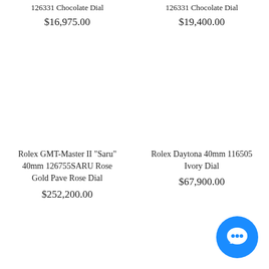126331 Chocolate Dial
$16,975.00
126331 Chocolate Dial
$19,400.00
Rolex GMT-Master II "Saru" 40mm 126755SARU Rose Gold Pave Rose Dial
$252,200.00
Rolex Daytona 40mm 116505 Ivory Dial
$67,900.00
[Figure (illustration): Chat button icon - blue circle with white chat bubble]